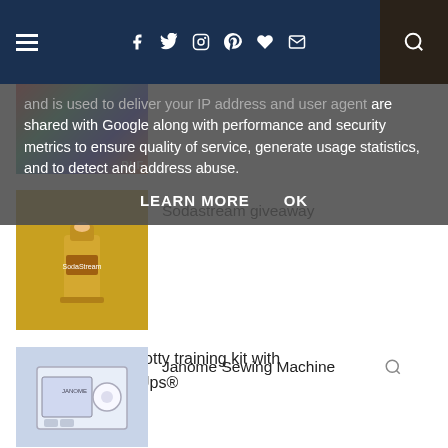Navigation bar with hamburger menu, social icons (Facebook, Twitter, Instagram, Pinterest, Heart, Mail), and search button
and is used to deliver your IP address and user agent are shared with Google along with performance and security metrics to ensure quality of service, generate usage statistics, and to detect and address abuse.
LEARN MORE   OK
[Figure (photo): Partial image of colorful scene with 'PLF' text overlay, cropped at top]
[Figure (photo): Yellow Sodastream machine with red logo, finger pressing button on top]
Sodastream giveaway
Win the ultimate potty training kit with HUGGIES® Pull-Ups®
[Figure (photo): Janome sewing machine in box packaging]
Janome Sewing Machine